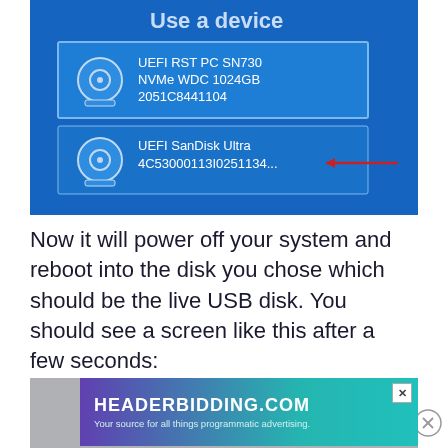[Figure (screenshot): Windows UEFI boot device selection screen showing two devices: 'UEFI RST PC SN730 NVMe WDC 1024GB 2051C8441104' and 'UEFI SanDisk Ultra 4C53000113I0251134...' with a red arrow pointing to the SanDisk entry.]
Now it will power off your system and reboot into the disk you chose which should be the live USB disk. You should see a screen like this after a few seconds:
[Figure (screenshot): Partially visible screenshot with HEADERBIDDING.COM advertisement overlay. Ad text: 'HEADERBIDDING.COM - Your source for all things programmatic advertising.']